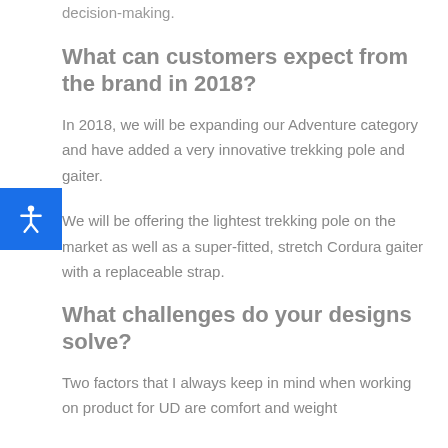decision-making.
What can customers expect from the brand in 2018?
In 2018, we will be expanding our Adventure category and have added a very innovative trekking pole and gaiter.
We will be offering the lightest trekking pole on the market as well as a super-fitted, stretch Cordura gaiter with a replaceable strap.
What challenges do your designs solve?
Two factors that I always keep in mind when working on product for UD are comfort and weight